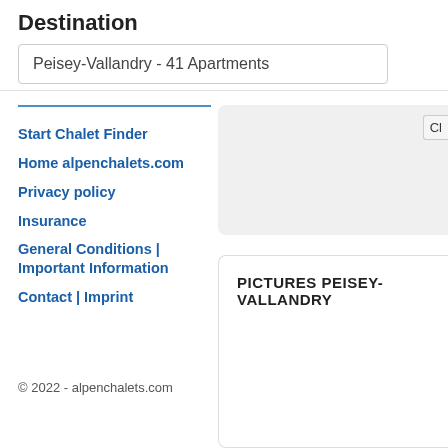Destination
Peisey-Vallandry - 41 Apartments
Start Chalet Finder
Home alpenchalets.com
Privacy policy
Insurance
General Conditions | Important Information
Contact | Imprint
© 2022 - alpenchalets.com
PICTURES PEISEY-VALLANDRY